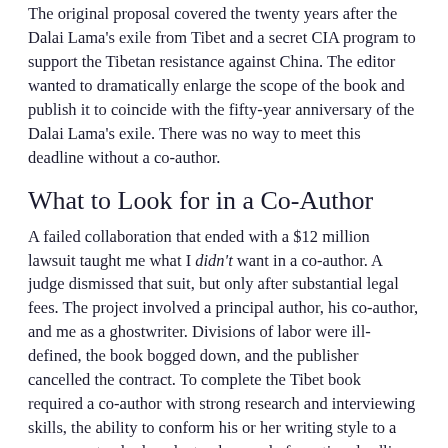The original proposal covered the twenty years after the Dalai Lama's exile from Tibet and a secret CIA program to support the Tibetan resistance against China. The editor wanted to dramatically enlarge the scope of the book and publish it to coincide with the fifty-year anniversary of the Dalai Lama's exile. There was no way to meet this deadline without a co-author.
What to Look for in a Co-Author
A failed collaboration that ended with a $12 million lawsuit taught me what I didn't want in a co-author. A judge dismissed that suit, but only after substantial legal fees. The project involved a principal author, his co-author, and me as a ghostwriter. Divisions of labor were ill-defined, the book bogged down, and the publisher cancelled the contract. To complete the Tibet book required a co-author with strong research and interviewing skills, the ability to conform his or her writing style to a common standard, and a track record of meeting deadlines.